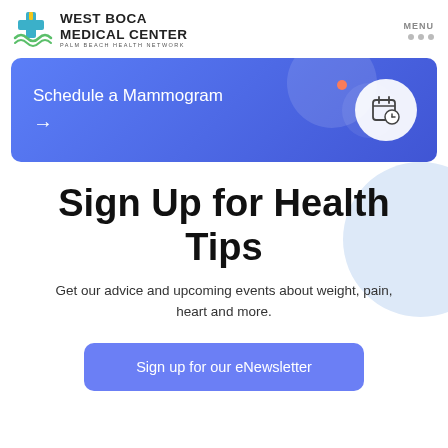WEST BOCA MEDICAL CENTER PALM BEACH HEALTH NETWORK
[Figure (illustration): West Boca Medical Center logo with stylized cross and waves icon in green and yellow, with text 'WEST BOCA MEDICAL CENTER' and 'PALM BEACH HEALTH NETWORK']
[Figure (illustration): Blue banner with 'Schedule a Mammogram' text, right arrow, orange dot accent, and calendar/clock icon in white circle, on a blue gradient background]
Sign Up for Health Tips
Get our advice and upcoming events about weight, pain, heart and more.
Sign up for our eNewsletter